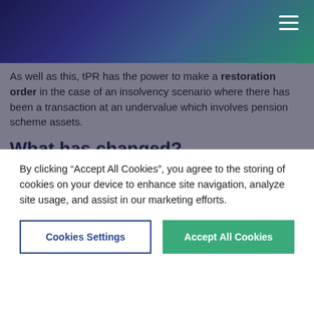As well as this, tPR has the power to make a restoration order in the case of an insolvency scenario where there has been a transaction at an undervalue which involves pension scheme assets.
What has changed?
In terms of the changes made by PSA 21, it is the new grounds for issuing a contribution notice which are most relevant. Prior to October 2021, a contribution notice could be issued where either:
By clicking “Accept All Cookies”, you agree to the storing of cookies on your device to enhance site navigation, analyze site usage, and assist in our marketing efforts.